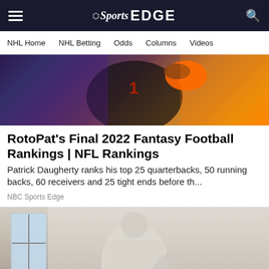NBC Sports EDGE — NHL Home | NHL Betting | Odds | Columns | Videos
[Figure (photo): Football player in dark jersey with orange gloves holding a football, blurred background]
RotoPat's Final 2022 Fantasy Football Rankings | NFL Rankings
Patrick Daugherty ranks his top 25 quarterbacks, 50 running backs, 60 receivers and 25 tight ends before th...
NBC Sports Edge
[Figure (photo): Person in white protective suit and mask using equipment on a surface with debris, industrial or remediation work]